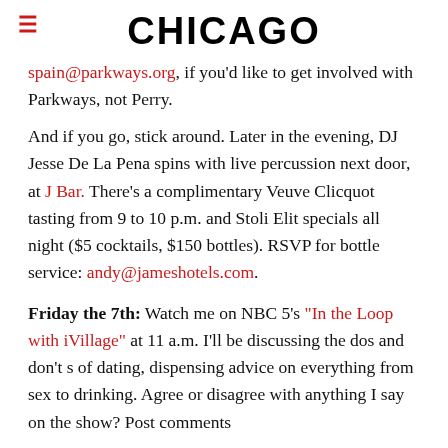CHICAGO
spain@parkways.org, if you'd like to get involved with Parkways, not Perry.
And if you go, stick around. Later in the evening, DJ Jesse De La Pena spins with live percussion next door, at J Bar. There's a complimentary Veuve Clicquot tasting from 9 to 10 p.m. and Stoli Elit specials all night ($5 cocktails, $150 bottles). RSVP for bottle service: andy@jameshotels.com.
Friday the 7th: Watch me on NBC 5's "In the Loop with iVillage" at 11 a.m. I'll be discussing the dos and don'ts of dating, dispensing advice on everything from sex to drinking. Agree or disagree with anything I say on the show? Post comments